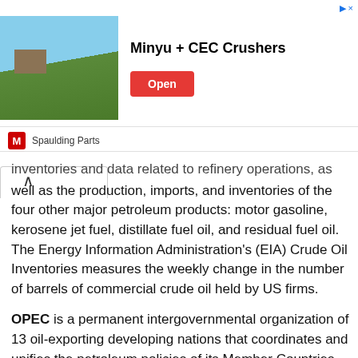[Figure (other): Advertisement banner for Minyu + CEC Crushers by Spaulding Parts, showing a green field/golf course image on the left, bold text 'Minyu + CEC Crushers' in the center, and a red 'Open' button on the right.]
inventories and data related to refinery operations, as well as the production, imports, and inventories of the four other major petroleum products: motor gasoline, kerosene jet fuel, distillate fuel oil, and residual fuel oil. The Energy Information Administration's (EIA) Crude Oil Inventories measures the weekly change in the number of barrels of commercial crude oil held by US firms.
OPEC is a permanent intergovernmental organization of 13 oil-exporting developing nations that coordinates and unifies the petroleum policies of its Member Countries, namely Algeria, Angola, Congo, Equatorial Guinea, Gabon, Iran, Iraq, Kuwait, Libya, Nigeria, Saudi Arabia, the United Arab Emirates, and Venezuela. OPEC controls almost 80% of the world's supply of oil reserves. The cartel sets...